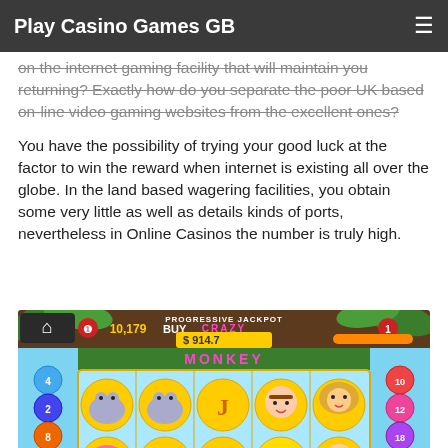Play Casino Games GB
on the internet gaming facility that will maintain you returning? Exactly how do you separate the poor UK based on-line video gaming websites from the excellent ones?
You have the possibility of trying your good luck at the factor to win the reward when internet is existing all over the globe. In the land based wagering facilities, you obtain some very little as well as details kinds of ports, nevertheless in Online Casinos the number is truly high.
[Figure (screenshot): Screenshot of a slot machine game called Crazy Monkey showing animal symbols including hippos, a lion, a bald man character, and a J symbol on the reels. Shows PROGRESSIVE JACKPOT display of $914.7, player has 10,179 coins with BUY option, and numbered betting circles on both sides.]